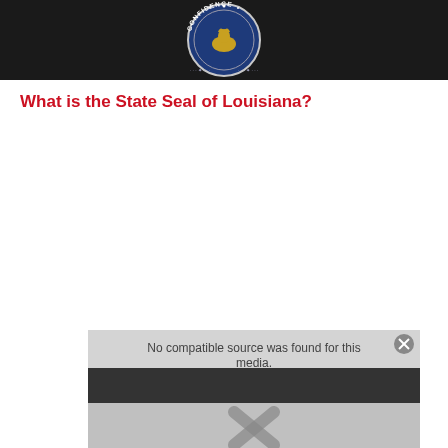[Figure (photo): Top portion of Louisiana State Seal on dark/black background, showing partial circular seal with text 'CONFIDENCE' visible at the top arc]
What is the State Seal of Louisiana?
[Figure (screenshot): Video player overlay showing 'No compatible source was found for this media.' error message on a light grey background, with a dark control bar and an X close button. Below shows a blurred image background with an X symbol.]